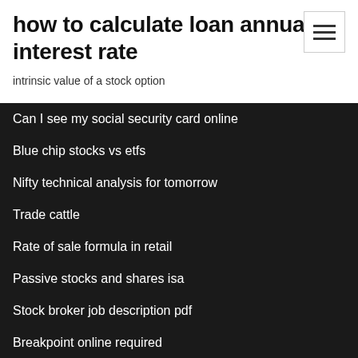how to calculate loan annual interest rate
intrinsic value of a stock option
Can I see my social security card online
Blue chip stocks vs etfs
Nifty technical analysis for tomorrow
Trade cattle
Rate of sale formula in retail
Passive stocks and shares isa
Stock broker job description pdf
Breakpoint online required
Best online accounting software for small business